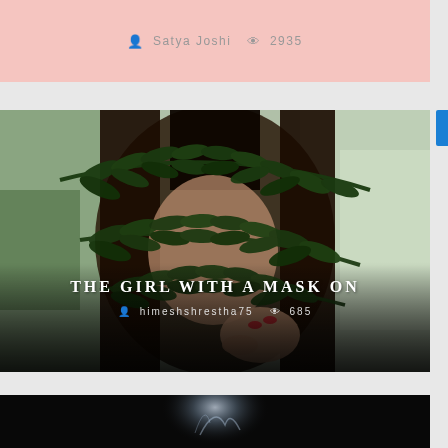[Figure (photo): Top pink/salmon colored banner strip with author info showing person icon, 'Satya Joshi', eye icon, and '2935']
Satya Joshi  2935
[Figure (photo): Photograph of a young woman with long dark hair holding a fern leaf over her face, obscuring her features. Photo has an artistic, moody quality. Overlaid text reads 'THE GIRL WITH A MASK ON' and metadata 'himeshshrestha75  685']
THE GIRL WITH A MASK ON
himeshshrestha75  685
[Figure (photo): Bottom dark/black photo strip showing a faint white smoke or light glow against a very dark background]